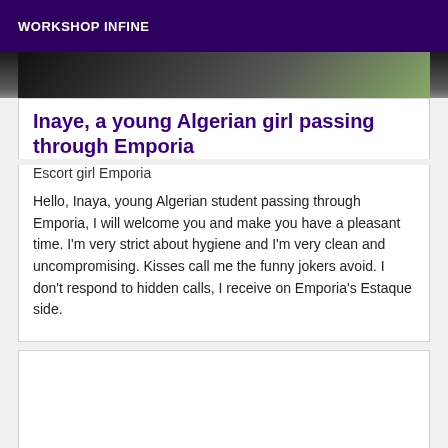WORKSHOP INFINE
[Figure (photo): Partial photo showing a dark background, top portion of an image cropped]
Inaye, a young Algerian girl passing through Emporia
Escort girl Emporia
Hello, Inaya, young Algerian student passing through Emporia, I will welcome you and make you have a pleasant time. I'm very strict about hygiene and I'm very clean and uncompromising. Kisses call me the funny jokers avoid. I don't respond to hidden calls, I receive on Emporia's Estaque side.
[Figure (photo): Second card, empty white area below the first listing]